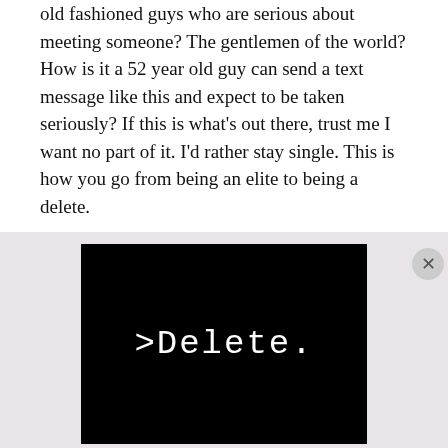old fashioned guys who are serious about meeting someone? The gentlemen of the world? How is it a 52 year old guy can send a text message like this and expect to be taken seriously? If this is what's out there, trust me I want no part of it. I'd rather stay single. This is how you go from being an elite to being a delete.
[Figure (screenshot): Black background image with white monospace/pixel font text reading '>Delete.']
Advertisements
[Figure (screenshot): DuckDuckGo advertisement banner. Left orange section reads 'Search, browse, and email with more privacy. All in One Free App'. Right dark section shows DuckDuckGo logo and name.]